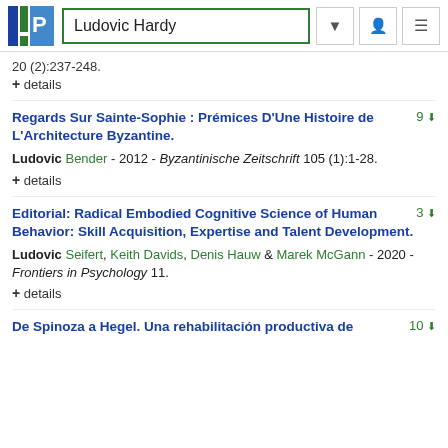Ludovic Hardy
20 (2):237-248.
+ details
Regards Sur Sainte-Sophie : Prémices D'Une Histoire de L'Architecture Byzantine.
9
Ludovic Bender - 2012 - Byzantinische Zeitschrift 105 (1):1-28.
+ details
Editorial: Radical Embodied Cognitive Science of Human Behavior: Skill Acquisition, Expertise and Talent Development.
3
Ludovic Seifert, Keith Davids, Denis Hauw & Marek McGann - 2020 - Frontiers in Psychology 11.
+ details
De Spinoza a Hegel. Una rehabilitación productiva de